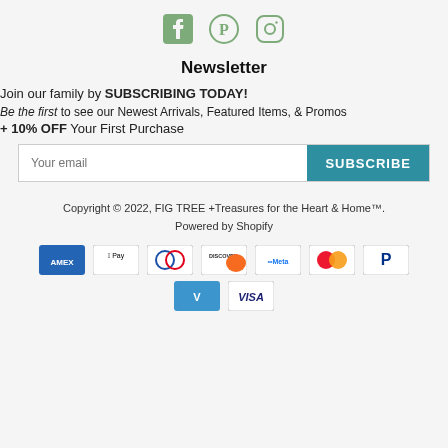[Figure (illustration): Three social media icons: Facebook, Pinterest, Instagram in sage green color]
Newsletter
Join our family by SUBSCRIBING TODAY!
Be the first to see our Newest Arrivals, Featured Items, & Promos + 10% OFF Your First Purchase
[Figure (other): Email subscription form with 'Your email' input field and teal SUBSCRIBE button]
Copyright © 2022, FIG TREE +Treasures for the Heart & Home™. Powered by Shopify
[Figure (other): Payment method icons: Amex, Apple Pay, Diners Club, Discover, Meta Pay, Mastercard, PayPal, Venmo, Visa]